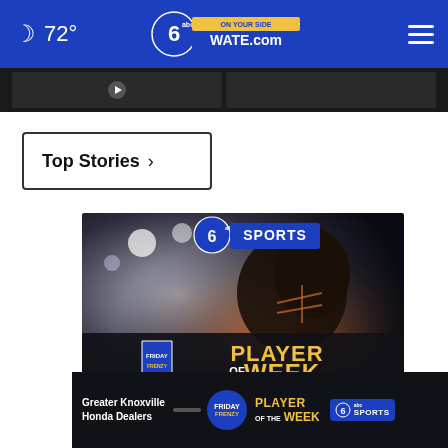72° WATE.com
[Figure (screenshot): Dark navigation strip with two dark thumbnail panels side by side]
Top Stories ›
[Figure (photo): WATE 6 ABC Sports promotional image showing a football player with Friday Frenzy Player of the Week overlay. Sponsored by Greater Knoxville Honda Dealers.]
Greater Knoxville Honda Dealers | FRIDAY FRENZY PLAYER OF THE WEEK | 6 abc SPORTS